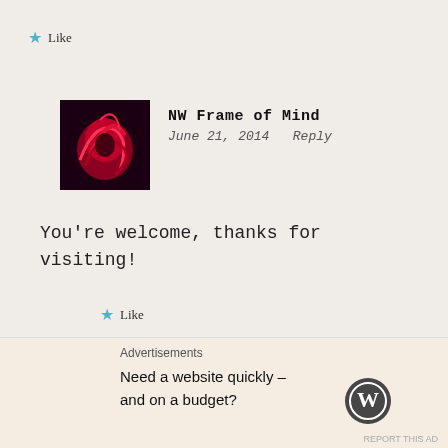★ Like
[Figure (photo): Avatar photo for NW Frame of Mind: dark background with red flower/plant]
NW Frame of Mind
June 21, 2014  Reply
You're welcome, thanks for visiting!
★ Like
[Figure (photo): Avatar photo for greenmackenzie: woman with blonde hair]
greenmackenzie
June 21, 2014  Reply
Advertisements
Need a website quickly – and on a budget?
[Figure (logo): WordPress logo]